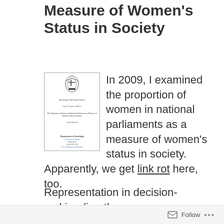Measure of Women's Status in Society
[Figure (other): Thumbnail image of a working paper cover page from the Department of Sociology, University of Oxford, showing a crest, titled 'Sociology Working Papers', with subtitle about 'The Proportion of Women in National Parliament as a Measure of Women's Status in Society'.]
In 2009, I examined the proportion of women in national parliaments as a measure of women's status in society. Apparently, we get link rot here, too.
Representation in decision-making (i.e. the
Follow ...